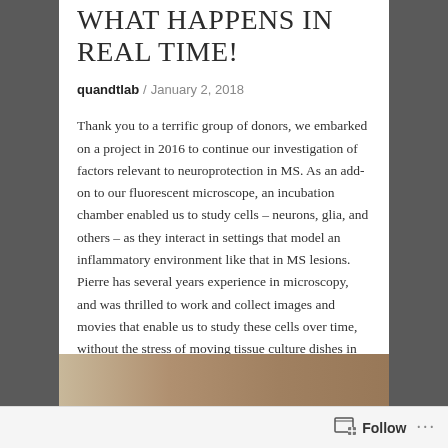WHAT HAPPENS IN REAL TIME!
quandtlab / January 2, 2018
Thank you to a terrific group of donors, we embarked on a project in 2016 to continue our investigation of factors relevant to neuroprotection in MS. As an add-on to our fluorescent microscope, an incubation chamber enabled us to study cells – neurons, glia, and others – as they interact in settings that model an inflammatory environment like that in MS lesions. Pierre has several years experience in microscopy, and was thrilled to work and collect images and movies that enable us to study these cells over time, without the stress of moving tissue culture dishes in and out of the much larger tissue culture incubator.
[Figure (photo): Partial image of a tan/brown colored surface visible at the bottom of the page]
Follow ...